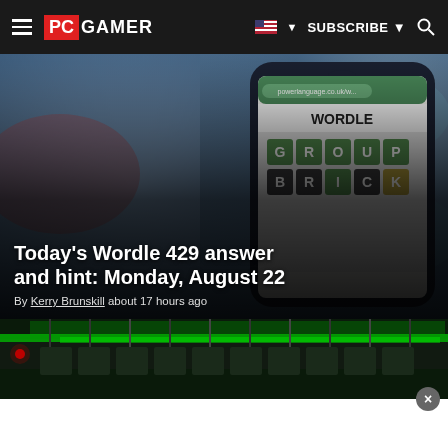PC GAMER  SUBSCRIBE
[Figure (screenshot): Article hero image: smartphone showing Wordle game with tiles spelling GROUP and BRICK, blurred blue/teal background]
Today's Wordle 429 answer and hint: Monday, August 22
By Kerry Brunskill about 17 hours ago
[Figure (photo): Second article thumbnail: green LED-lit cryptocurrency mining rigs in a dark room]